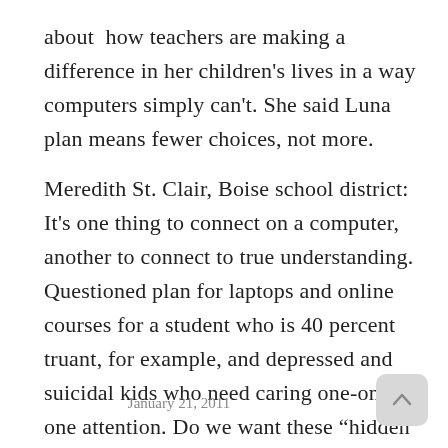about  how teachers are making a difference in her children's lives in a way computers simply can't. She said Luna plan means fewer choices, not more.
Meredith St. Clair, Boise school district: It's one thing to connect on a computer, another to connect to true understanding. Questioned plan for laptops and online courses for a student who is 40 percent truant, for example, and depressed and suicidal kids who need caring one-on-one attention. Do we want these “hidden kids” to disappear altogether in larger classes?
January 21, 2011